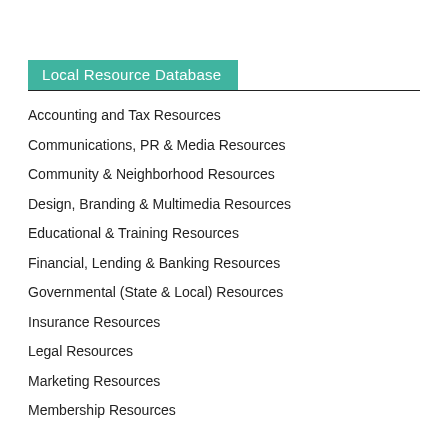Local Resource Database
Accounting and Tax Resources
Communications, PR & Media Resources
Community & Neighborhood Resources
Design, Branding & Multimedia Resources
Educational & Training Resources
Financial, Lending & Banking Resources
Governmental (State & Local) Resources
Insurance Resources
Legal Resources
Marketing Resources
Membership Resources